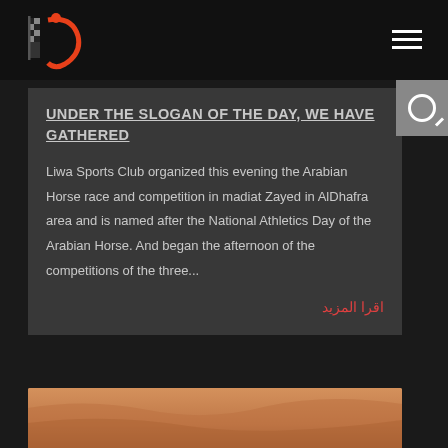Liwa Sports Club — navigation header with logo and hamburger menu
UNDER THE SLOGAN OF THE DAY, WE HAVE GATHERED
Liwa Sports Club organized this evening the Arabian Horse race and competition in madiat Zayed in AlDhafra area and is named after the National Athletics Day of the Arabian Horse. And began the afternoon of the competitions of the three...
اقرا المزيد
[Figure (photo): Sandy desert landscape at the bottom of the page, warm brown/orange tones]